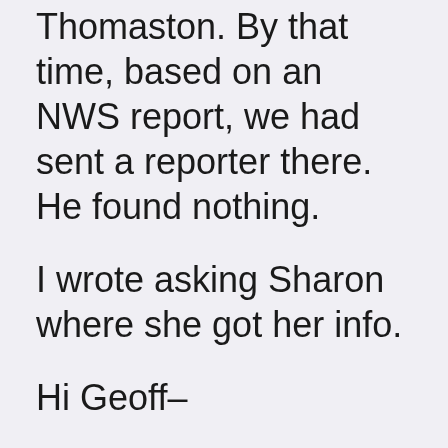Thomaston. By that time, based on an NWS report, we had sent a reporter there. He found nothing.
I wrote asking Sharon where she got her info.
Hi Geoff–
I was watching the Weather Channel when I first got home and it came across in the National Weather Service Tornado warning on the bottom of the screen. It said the tornado was spotted by local